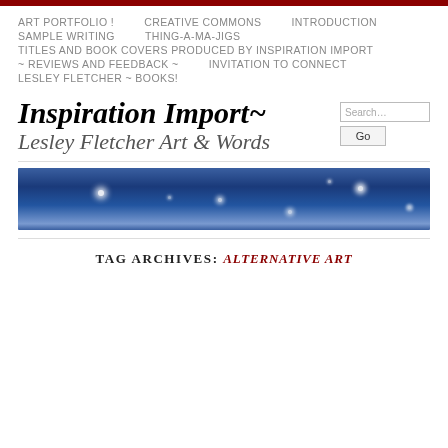ART PORTFOLIO !   CREATIVE COMMONS   INTRODUCTION   SAMPLE WRITING   THING-A-MA-JIGS   TITLES AND BOOK COVERS PRODUCED BY INSPIRATION IMPORT   ~ REVIEWS AND FEEDBACK ~   INVITATION TO CONNECT   LESLEY FLETCHER ~ BOOKS!
Inspiration Import~ Lesley Fletcher Art & Words
[Figure (illustration): Horizontal banner image with blue/starry watercolor-style painting, resembling a night sky with glowing star points]
TAG ARCHIVES: ALTERNATIVE ART